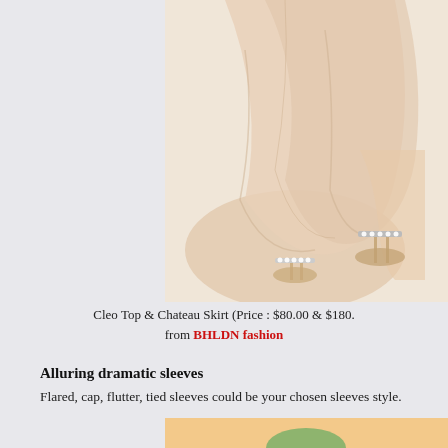[Figure (photo): Lower portion of a woman wearing a flowing blush/champagne-colored gown and crystal-embellished heeled sandals against a light background.]
Cleo Top & Chateau Skirt (Price : $80.00 & $180. from BHLDN fashion
Alluring dramatic sleeves
Flared, cap, flutter, tied sleeves could be your chosen sleeves style.
[Figure (photo): Woman with dark hair wearing a green V-neck short-sleeve dress, photographed against a warm peach/orange background.]